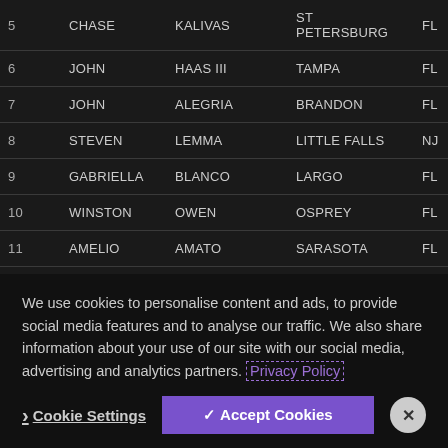| # | FIRST | LAST | CITY | ST | AMOUNT |
| --- | --- | --- | --- | --- | --- |
| 5 | CHASE | KALIVAS | ST PETERSBURG | FL | 385,000 |
| 6 | JOHN | HAAS III | TAMPA | FL | 373,000 |
| 7 | JOHN | ALEGRIA | BRANDON | FL | 319,000 |
| 8 | STEVEN | LEMMA | LITTLE FALLS | NJ | 309,000 |
| 9 | GABRIELLA | BLANCO | LARGO | FL | 288,000 |
| 10 | WINSTON | OWEN | OSPREY | FL | 284,000 |
| 11 | AMELIO | AMATO | SARASOTA | FL | 281,000 |
| 12 | ROBERT | OROURKE | DADE CITY | FL | 265,000 |
| 13 | KEITH | OAKLEY | WIMAUMA | FL | 254,000 |
We use cookies to personalise content and ads, to provide social media features and to analyse our traffic. We also share information about your use of our site with our social media, advertising and analytics partners. Privacy Policy